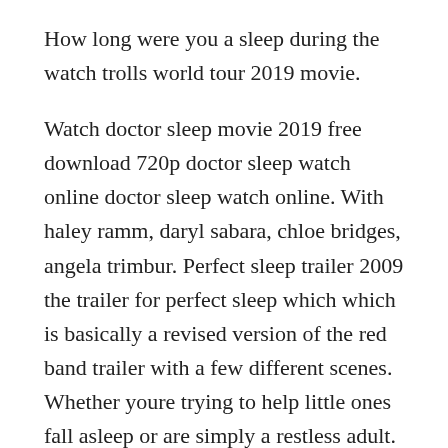How long were you a sleep during the watch trolls world tour 2019 movie.
Watch doctor sleep movie 2019 free download 720p doctor sleep watch online doctor sleep watch online. With haley ramm, daryl sabara, chloe bridges, angela trimbur. Perfect sleep trailer 2009 the trailer for perfect sleep which which is basically a revised version of the red band trailer with a few different scenes. Whether youre trying to help little ones fall asleep or are simply a restless adult. Based in plymouth, the perfect sleep are your local bed